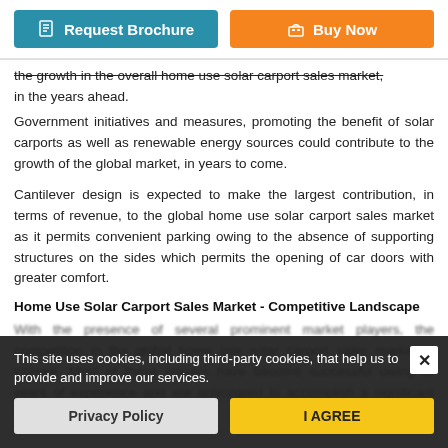[Figure (other): Two buttons: 'Request Brochure' (teal) and 'Buy Now' (orange)]
the growth in the overall home use solar carport sales market, in the years ahead.
Government initiatives and measures, promoting the benefit of solar carports as well as renewable energy sources could contribute to the growth of the global market, in years to come.
Cantilever design is expected to make the largest contribution, in terms of revenue, to the global home use solar carport sales market as it permits convenient parking owing to the absence of supporting structures on the sides which permits the opening of car doors with greater comfort.
Home Use Solar Carport Sales Market - Competitive Landscape
With the presence of several prominent market players, the competition in the global home use solar carport sales market is intense. Most of these players have become successful owing to years of experience and are anticipated to accomplish a significant share of the market, in the...
This site uses cookies, including third-party cookies, that help us to provide and improve our services.